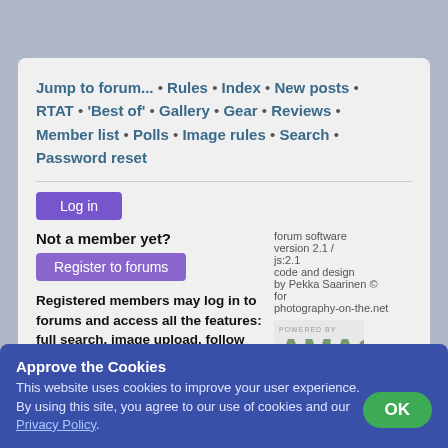Jump to forum... • Rules • Index • New posts • RTAT • 'Best of' • Gallery • Gear • Reviews • Member list • Polls • Image rules • Search • Password reset
Log in
Not a member yet?
Register to forums
Registered members may log in to forums and access all the features: full search, image upload, follow forums, own gear list and ratings, likes, more forums, private messaging, thread follow, notifications, own gallery, all settings, view hosted photos, own reviews, see more and do more... and all is free. Don't be a stranger - register now and start
forum software version 2.1 / js:2.1 code and design by Pekka Saarinen © for photography-on-the.net
THEME: Paper White | Darker MARGINS: (this page: defaults)
Approve the Cookies
This website uses cookies to improve your user experience. By using this site, you agree to our use of cookies and our Privacy Policy.
OK